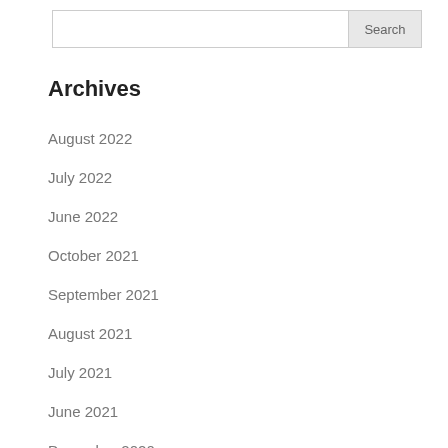Search
Archives
August 2022
July 2022
June 2022
October 2021
September 2021
August 2021
July 2021
June 2021
December 2020